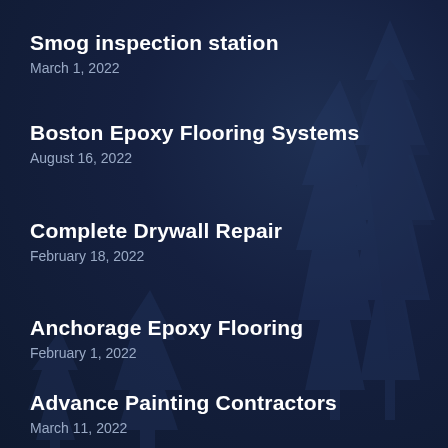Smog inspection station
March 1, 2022
Boston Epoxy Flooring Systems
August 16, 2022
Complete Drywall Repair
February 18, 2022
Anchorage Epoxy Flooring
February 1, 2022
Advance Painting Contractors
March 11, 2022